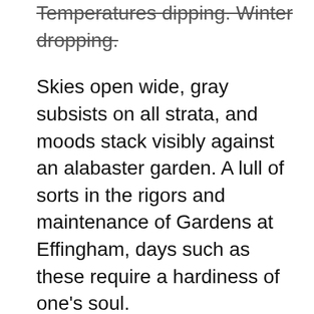Temperatures dipping. Winter dropping.
Skies open wide, gray subsists on all strata, and moods stack visibly against an alabaster garden. A lull of sorts in the rigors and maintenance of Gardens at Effingham, days such as these require a hardiness of one's soul.
The kittens, at 7 months now, flush beautifully with their full winter coats. Poofy and gorgeously striped, they frequent the food bowl together, an inherent pecking order amongst them, one often under the forsythia while the other one eats. At first this might seem like camaraderie of sorts, or siblings traveling in twos, but perhaps even more so for protection. The sky opens wide, a single, flat, gray slab against which any number of